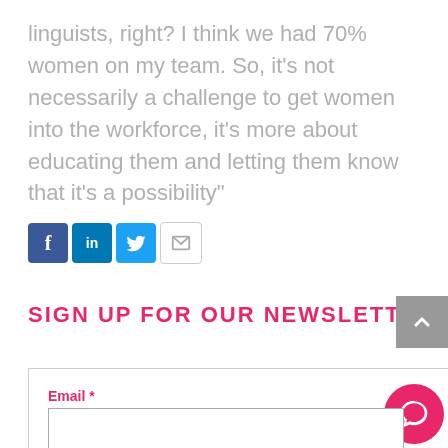linguists, right? I think we had 70% women on my team. So, it's not necessarily a challenge to get women into the workforce, it's more about educating them and letting them know that it's a possibility"
[Figure (other): Social media sharing icons for Facebook, LinkedIn, Twitter, and Email]
SIGN UP FOR OUR NEWSLETTER
Email *
First name